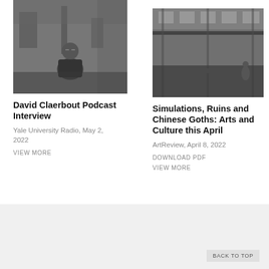[Figure (photo): Black and white photo of a man with glasses sitting in an industrial or studio setting]
David Claerbout Podcast Interview
Yale University Radio, May 2, 2022
VIEW MORE
[Figure (photo): Black and white photo of a large industrial interior space with overhead crane and high windows]
Simulations, Ruins and Chinese Goths: Arts and Culture this April
ArtReview, April 8, 2022
DOWNLOAD PDF
VIEW MORE
BACK TO TOP